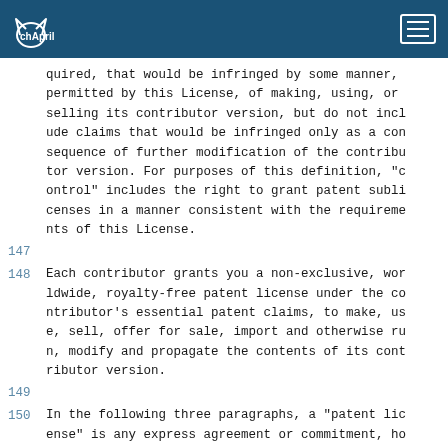chApril [logo] [menu]
quired, that would be infringed by some manner, permitted by this License, of making, using, or selling its contributor version, but do not include claims that would be infringed only as a consequence of further modification of the contributor version. For purposes of this definition, "control" includes the right to grant patent sublicenses in a manner consistent with the requirements of this License.
147
148  Each contributor grants you a non-exclusive, worldwide, royalty-free patent license under the contributor's essential patent claims, to make, use, sell, offer for sale, import and otherwise run, modify and propagate the contents of its contributor version.
149
150  In the following three paragraphs, a "patent license" is any express agreement or commitment, however denominated, not to enforce a patent (such